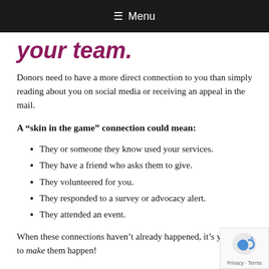≡ Menu
your team.
Donors need to have a more direct connection to you than simply reading about you on social media or receiving an appeal in the mail.
A “skin in the game” connection could mean:
They or someone they know used your services.
They have a friend who asks them to give.
They volunteered for you.
They responded to a survey or advocacy alert.
They attended an event.
When these connections haven’t already happened, it’s your job to make them happen!